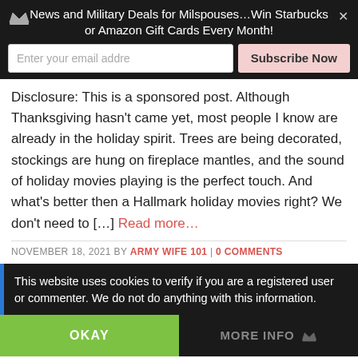News and Military Deals for Milspouses…Win Starbucks or Amazon Gift Cards Every Month!
Disclosure: This is a sponsored post. Although Thanksgiving hasn't came yet, most people I know are already in the holiday spirit. Trees are being decorated, stockings are hung on fireplace mantles, and the sound of holiday movies playing is the perfect touch. And what's better then a Hallmark holiday movies right? We don't need to […] Read more…
NOVEMBER 18, 2021 BY ARMY WIFE 101 | 0 COMMENTS
This website uses cookies to verify if you are a registered user or commenter. We do not do anything with this information.